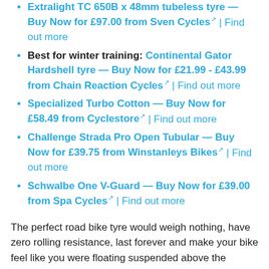Extralight TC 650B x 48mm tubeless tyre — Buy Now for £97.00 from Sven Cycles | Find out more
Best for winter training: Continental Gator Hardshell tyre — Buy Now for £21.99 - £43.99 from Chain Reaction Cycles | Find out more
Specialized Turbo Cotton — Buy Now for £58.49 from Cyclestore | Find out more
Challenge Strada Pro Open Tubular — Buy Now for £39.75 from Winstanleys Bikes | Find out more
Schwalbe One V-Guard — Buy Now for £39.00 from Spa Cycles | Find out more
The perfect road bike tyre would weigh nothing, have zero rolling resistance, last forever and make your bike feel like you were floating suspended above the ground. Unfortunately, it doesn't exist, but the best road bike tyres do manage to excel in one or more categories.
What features should you look for in choosing a road bike